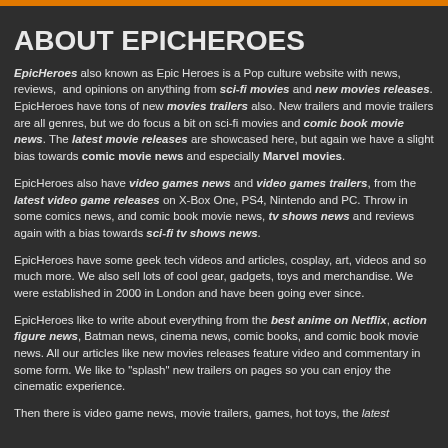ABOUT EPICHEROES
EpicHeroes also known as Epic Heroes is a Pop culture website with news, reviews, and opinions on anything from sci-fi movies and new movies releases. EpicHeroes have tons of new movies trailers also. New trailers and movie trailers are all genres, but we do focus a bit on sci-fi movies and comic book movie news. The latest movie releases are showcased here, but again we have a slight bias towards comic movie news and especially Marvel movies.
EpicHeroes also have video games news and video games trailers, from the latest video game releases on X-Box One, PS4, Nintendo and PC. Throw in some comics news, and comic book movie news, tv shows news and reviews again with a bias towards sci-fi tv shows news.
EpicHeroes have some geek tech videos and articles, cosplay, art, videos and so much more. We also sell lots of cool gear, gadgets, toys and merchandise. We were established in 2000 in London and have been going ever since.
EpicHeroes like to write about everything from the best anime on Netflix, action figure news, Batman news, cinema news, comic books, and comic book movie news. All our articles like new movies releases feature video and commentary in some form. We like to "splash" new trailers on pages so you can enjoy the cinematic experience.
Then there is video game news, movie trailers, games, hot toys, the latest